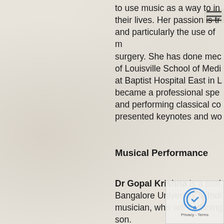to use music as a way to in their lives. Her passion is tr and particularly the use of m surgery. She has done mec of Louisville School of Medi at Baptist Hospital East in L became a professional spe and performing classical co presented keynotes and wo
Musical Performance
Dr Gopal Krishna is a prof Bangalore University in Indi musician, who will be sining son.